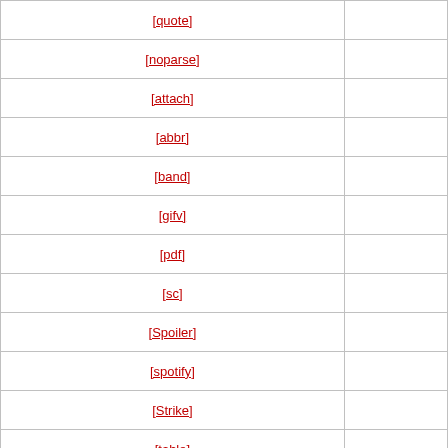| Tag | Description |
| --- | --- |
| [quote] |  |
| [noparse] |  |
| [attach] |  |
| [abbr] |  |
| [band] |  |
| [gifv] |  |
| [pdf] |  |
| [sc] |  |
| [Spoiler] |  |
| [spotify] |  |
| [Strike] |  |
| [table] |  |
| [vine] |  |
| [webm] |  |
Incorrect BB Code Usage:
[url] www.example.com [/url] - don't put spaces between the brack
[email]myname@domain.com[/email] - the end brackets must inclu